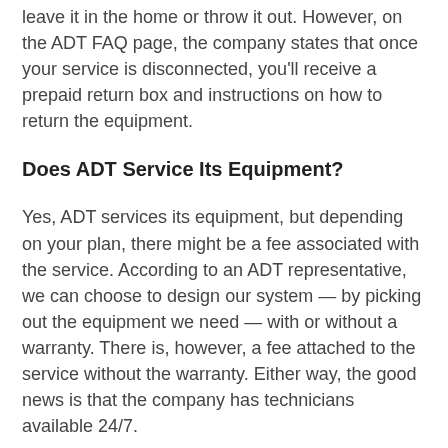leave it in the home or throw it out. However, on the ADT FAQ page, the company states that once your service is disconnected, you'll receive a prepaid return box and instructions on how to return the equipment.
Does ADT Service Its Equipment?
Yes, ADT services its equipment, but depending on your plan, there might be a fee associated with the service. According to an ADT representative, we can choose to design our system — by picking out the equipment we need — with or without a warranty. There is, however, a fee attached to the service without the warranty. Either way, the good news is that the company has technicians available 24/7.
Can I Take My Security System with Me When I Move?